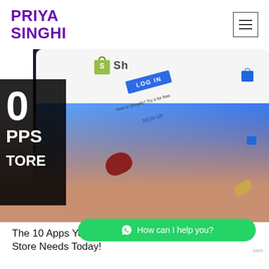PRIYA SINGHI
[Figure (screenshot): Screenshot of a Shopify mobile app login page being held by a hand, with a dark overlay on the left showing partial text: '0', 'PPS', 'TORE' (part of '10 Apps' and 'Store')]
The 10 Apps Your Shopify Store Needs Today!